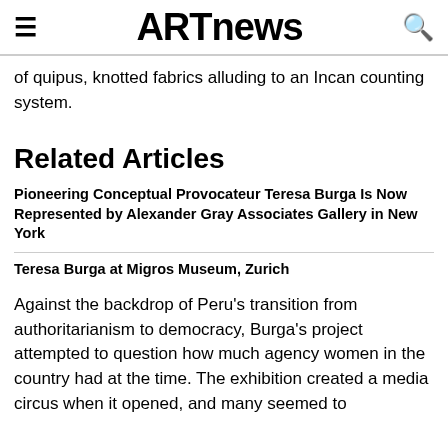ARTnews
of quipus, knotted fabrics alluding to an Incan counting system.
Related Articles
Pioneering Conceptual Provocateur Teresa Burga Is Now Represented by Alexander Gray Associates Gallery in New York
Teresa Burga at Migros Museum, Zurich
Against the backdrop of Peru's transition from authoritarianism to democracy, Burga's project attempted to question how much agency women in the country had at the time. The exhibition created a media circus when it opened, and many seemed to